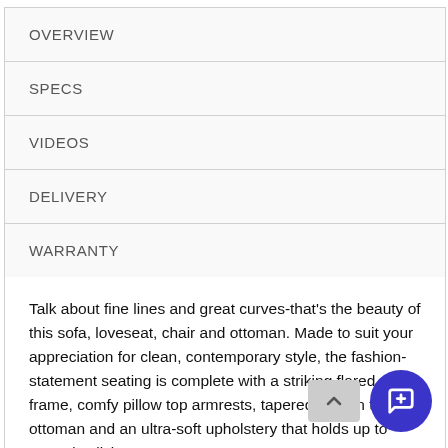OVERVIEW
SPECS
VIDEOS
DELIVERY
WARRANTY
Talk about fine lines and great curves-that's the beauty of this sofa, loveseat, chair and ottoman. Made to suit your appreciation for clean, contemporary style, the fashion-statement seating is complete with a striking flared frame, comfy pillow top armrests, tapered feet on the ottoman and an ultra-soft upholstery that holds up to everyday living.